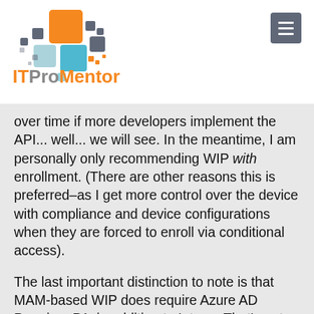[Figure (logo): ITProMentor logo with colorful pixel squares in orange, gray, and blue, and the text ITProMentor below]
over time if more developers implement the API... well... we will see. In the meantime, I am personally only recommending WIP with enrollment. (There are other reasons this is preferred–as I get more control over the device with compliance and device configurations when they are forced to enroll via conditional access).
The last important distinction to note is that MAM-based WIP does require Azure AD Premium P1, in addition to Intune. That's not a problem for most customers who bought Intune via an Enterprise Mobility + Security subscription or a Microsoft 365 Enterprise subscription, but the in the matter of Microsoft 365 Business…